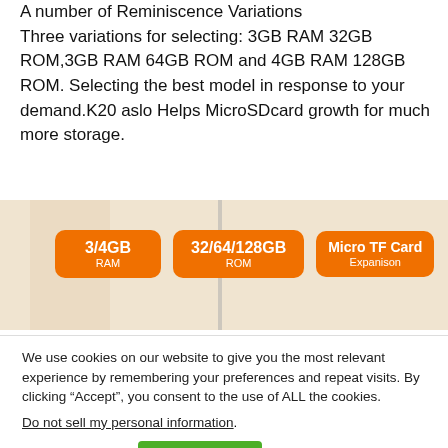A number of Reminiscence Variations
Three variations for selecting: 3GB RAM 32GB ROM,3GB RAM 64GB ROM and 4GB RAM 128GB ROM. Selecting the best model in response to your demand.K20 aslo Helps MicroSDcard growth for much more storage.
[Figure (infographic): Product specification infographic showing three orange badges: '3/4GB RAM', '32/64/128GB ROM', and 'Micro TF Card Expansion']
We use cookies on our website to give you the most relevant experience by remembering your preferences and repeat visits. By clicking “Accept”, you consent to the use of ALL the cookies.
Do not sell my personal information.
Cookie settings   ACCEPT